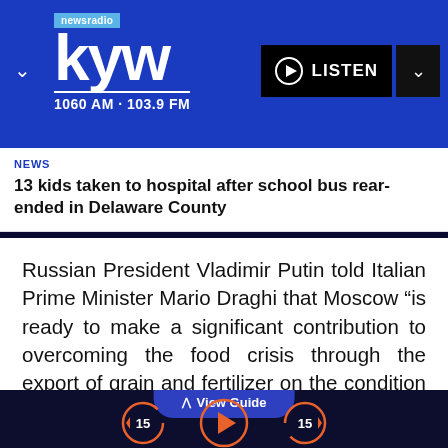[Figure (logo): KYW Newsradio logo with text 'newsradio kyw 1060 AM · 103.9 FM' on blue background with LISTEN button]
NEWS
13 kids taken to hospital after school bus rear-ended in Delaware County
Russian President Vladimir Putin told Italian Prime Minister Mario Draghi that Moscow “is ready to make a significant contribution to overcoming the food crisis through the export of grain and fertilizer on the condition that politically motivated
View Guide